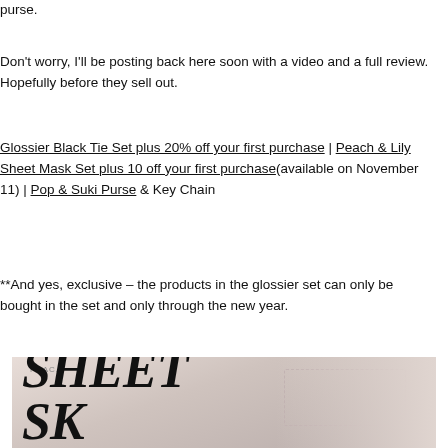purse.
Don't worry, I'll be posting back here soon with a video and a full review. Hopefully before they sell out.
Glossier Black Tie Set plus 20% off your first purchase | Peach & Lily Sheet Mask Set plus 10 off your first purchase (available on November 11) | Pop & Suki Purse & Key Chain
**And yes, exclusive – the products in the glossier set can only be bought in the set and only through the new year.
[Figure (photo): Close-up photo of a Peach & Lily sheet mask package showing partial text 'SHEET' and 'SK' in large bold serif font, with a stitched edge detail visible on the right side of the package.]